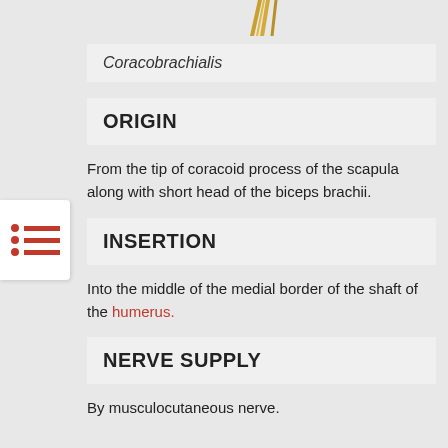[Figure (illustration): Partial illustration of muscle anatomy at the top of the page]
Coracobrachialis
ORIGIN
From the tip of coracoid process of the scapula along with short head of the biceps brachii.
INSERTION
Into the middle of the medial border of the shaft of the humerus.
NERVE SUPPLY
By musculocutaneous nerve.